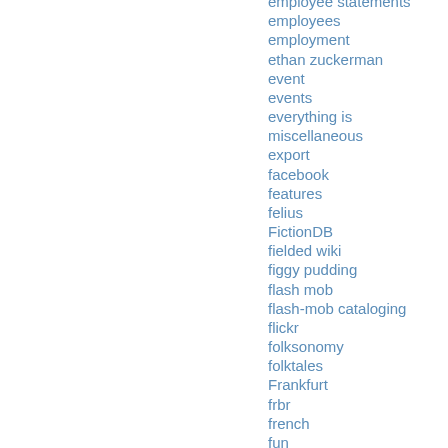employee statements
employees
employment
ethan zuckerman
event
events
everything is miscellaneous
export
facebook
features
felius
FictionDB
fielded wiki
figgy pudding
flash mob
flash-mob cataloging
flickr
folksonomy
folktales
Frankfurt
frbr
french
fun
gbs
geeks
german
get this book
gifts
Giovanni
google
google book search
google book linking